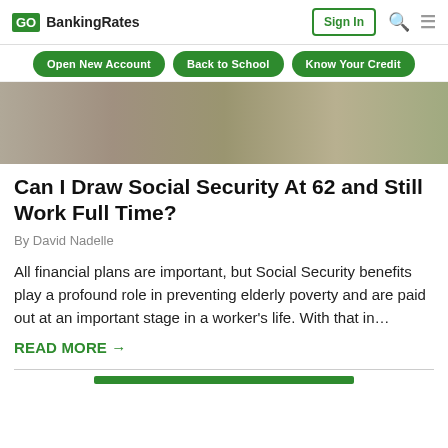GO BankingRates | Sign In
Open New Account
Back to School
Know Your Credit
[Figure (photo): Photo of a person working at a laptop on a desk with a notebook]
Can I Draw Social Security At 62 and Still Work Full Time?
By David Nadelle
All financial plans are important, but Social Security benefits play a profound role in preventing elderly poverty and are paid out at an important stage in a worker's life. With that in…
READ MORE →